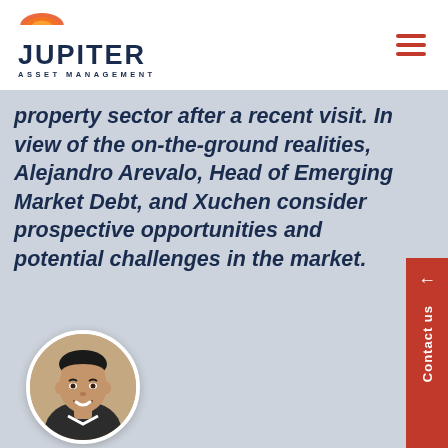[Figure (logo): Jupiter Asset Management logo with orange semicircle icon, dark navy JUPITER text and ASSET MANAGEMENT subtitle]
property sector after a recent visit. In view of the on-the-ground realities, Alejandro Arevalo, Head of Emerging Market Debt, and Xuchen consider prospective opportunities and potential challenges in the market.
[Figure (photo): Circular portrait photo of a smiling man in a suit, identified as Alejandro Arevalo]
Contact us